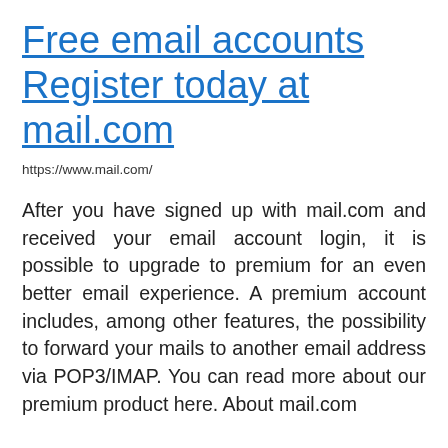Free email accounts Register today at mail.com
https://www.mail.com/
After you have signed up with mail.com and received your email account login, it is possible to upgrade to premium for an even better email experience. A premium account includes, among other features, the possibility to forward your mails to another email address via POP3/IMAP. You can read more about our premium product here. About mail.com